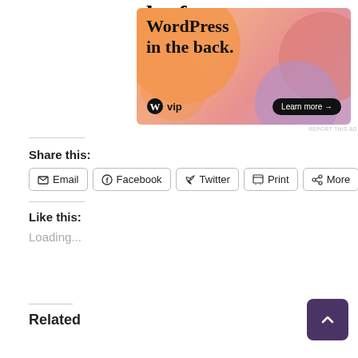the front...
[Figure (illustration): WordPress VIP advertisement banner with colorful blob shapes on orange/pink/purple gradient background, showing 'WordPress in the back.' text, WordPress VIP logo, and 'Learn more →' button]
REPORT THIS AD
Share this:
Email
Facebook
Twitter
Print
More
Like this:
Loading...
Related